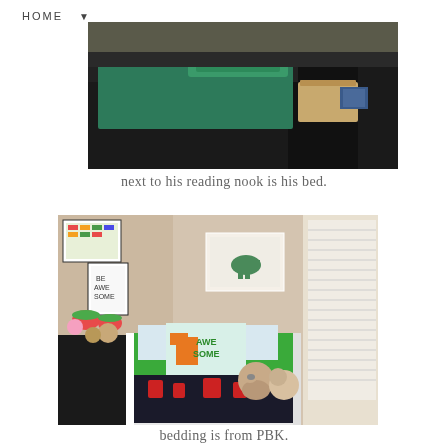HOME ▼
[Figure (photo): A dark-toned bedroom photo showing a bed with green/teal bedding and pillows, viewed from above/side angle, with a basket on the right side.]
next to his reading nook is his bed.
[Figure (photo): A child's bedroom with a green-quilted toddler bed featuring an 'AWESOME' dinosaur pillow, stuffed animals, dark blanket with red patterns, framed dinosaur artwork on the wall, colorful wall art, watermelon garland, and a window with blinds on the right.]
bedding is from PBK.